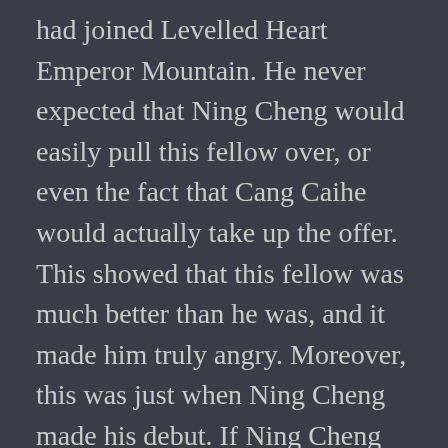had joined Levelled Heart Emperor Mountain. He never expected that Ning Cheng would easily pull this fellow over, or even the fact that Cang Caihe would actually take up the offer. This showed that this fellow was much better than he was, and it made him truly angry. Moreover, this was just when Ning Cheng made his debut. If Ning Cheng had debuted a few hundred or a thousand years ago, the current Grand Culmination Starry Sky might have had nothing to do with Chuan Xinlou.
Ning Cheng felt surprised, and quickly asked, “Does Brother Wu Hong really has Purple Light Treasure Essence[2]?”